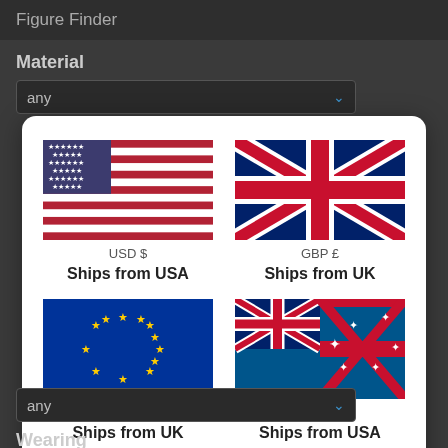Figure Finder
Material
any
[Figure (screenshot): A popup modal showing four country currency/shipping options arranged in a 2x2 grid. Each option shows a flag, currency code, and shipping origin. Top-left: US flag, USD $, Ships from USA. Top-right: UK flag, GBP £, Ships from UK. Bottom-left: EU flag, EUR €, Ships from UK. Bottom-right: Australian flag, AUD $, Ships from USA.]
any
Wearing